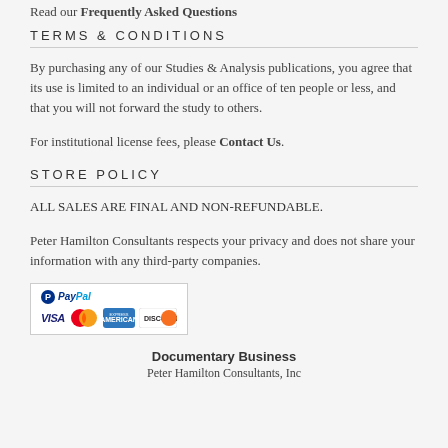Read our Frequently Asked Questions
TERMS & CONDITIONS
By purchasing any of our Studies & Analysis publications, you agree that its use is limited to an individual or an office of ten people or less, and that you will not forward the study to others.
For institutional license fees, please Contact Us.
STORE POLICY
ALL SALES ARE FINAL AND NON-REFUNDABLE.
Peter Hamilton Consultants respects your privacy and does not share your information with any third-party companies.
[Figure (logo): PayPal accepted payment logos showing PayPal, Visa, MasterCard, American Express, and Discover]
Documentary Business
Peter Hamilton Consultants, Inc